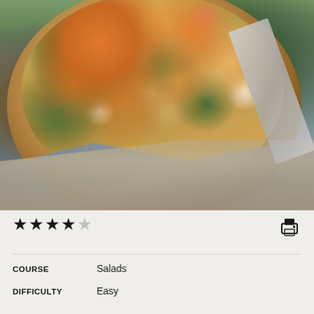[Figure (photo): A wooden bowl filled with a salad containing chickpeas, lentils, kale, orange citrus segments, red onion, dried cranberries, and crumbled white cheese, with silver serving utensils, placed on a blue cloth napkin on a wooden table surface.]
★★★★☆
[Figure (other): Print icon (printer symbol)]
COURSE	Salads
DIFFICULTY	Easy